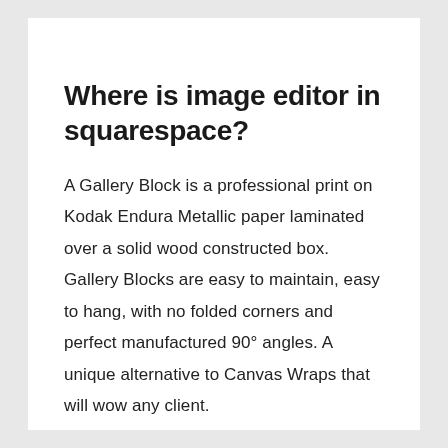Where is image editor in squarespace?
A Gallery Block is a professional print on Kodak Endura Metallic paper laminated over a solid wood constructed box. Gallery Blocks are easy to maintain, easy to hang, with no folded corners and perfect manufactured 90° angles. A unique alternative to Canvas Wraps that will wow any client.